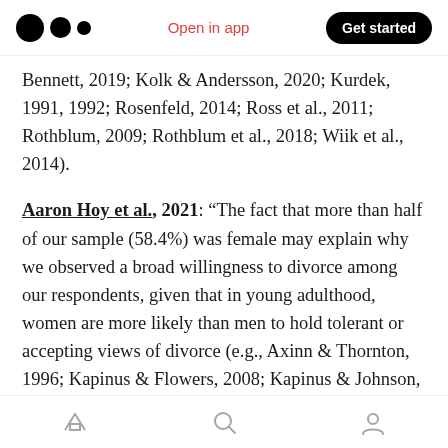Medium logo | Open in app | Get started
Bennett, 2019; Kolk & Andersson, 2020; Kurdek, 1991, 1992; Rosenfeld, 2014; Ross et al., 2011; Rothblum, 2009; Rothblum et al., 2018; Wiik et al., 2014).
Aaron Hoy et al., 2021: “The fact that more than half of our sample (58.4%) was female may explain why we observed a broad willingness to divorce among our respondents, given that in young adulthood, women are more likely than men to hold tolerant or accepting views of divorce (e.g., Axinn & Thornton, 1996; Kapinus & Flowers, 2008; Kapinus & Johnson, 2002).”
Home | Search | Profile